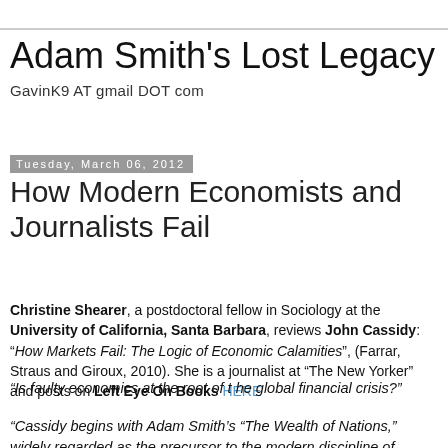Adam Smith's Lost Legacy
GavinK9 AT gmail DOT com
Tuesday, March 06, 2012
How Modern Economists and Journalists Fail
Christine Shearer, a postdoctoral fellow in Sociology at the University of California, Santa Barbara, reviews John Cassidy: “How Markets Fail: The Logic of Economic Calamities”, (Farrar, Straus and Giroux, 2010). She is a journalist at “The New Yorker” and posts on Left Eye On Books HERE
“Is faulty economics at the root of t he global financial crisis?”
“Cassidy begins with Adam Smith’s “The Wealth of Nations,” widely regarded as the precursor to the modern discipline of